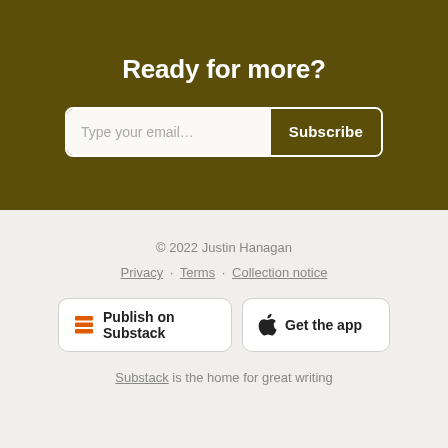Ready for more?
Type your email...  Subscribe
© 2022 Justin Hanagan
Privacy · Terms · Collection notice
Publish on Substack
Get the app
Substack is the home for great writing